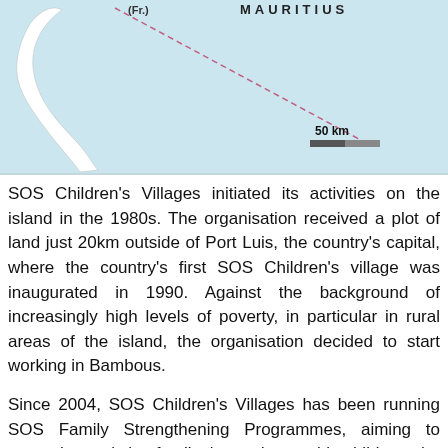[Figure (map): A map showing an island (likely Mauritius) with a light blue ocean background. A white landmass is visible on the left side. A dashed pink/red line runs diagonally from upper left to lower right. A scale bar labeled '50 km' appears in the lower right. The top of the map shows partial text '(Fr.)' on the left and partial text 'M... U... I... T... I... U... S' on the right (partially cut off).]
SOS Children's Villages initiated its activities on the island in the 1980s. The organisation received a plot of land just 20km outside of Port Luis, the country's capital, where the country's first SOS Children's village was inaugurated in 1990. Against the background of increasingly high levels of poverty, in particular in rural areas of the island, the organisation decided to start working in Bambous.
Since 2004, SOS Children's Villages has been running SOS Family Strengthening Programmes, aiming to strengthen existing family ties and to enable children who are at risk of losing the care of their family to grow up within a loving family environment.
At present, SOS Children's Villages is supporting young...